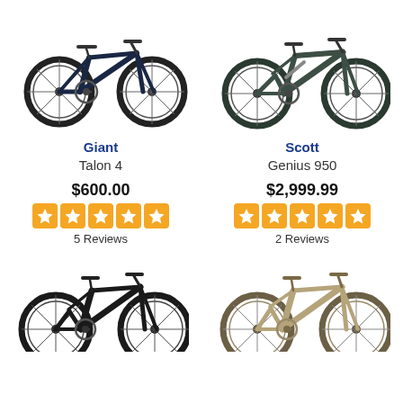[Figure (photo): Giant Talon 4 mountain bike, dark navy/black hardtail, left side view]
[Figure (photo): Scott Genius 950 mountain bike, dark grey full-suspension, left side view]
Giant
Talon 4
$600.00
5 Reviews
Scott
Genius 950
$2,999.99
2 Reviews
[Figure (photo): Dark full-suspension mountain bike, partially cropped at bottom, left side view]
[Figure (photo): Light tan/beige full-suspension mountain bike, partially cropped at bottom, left side view]